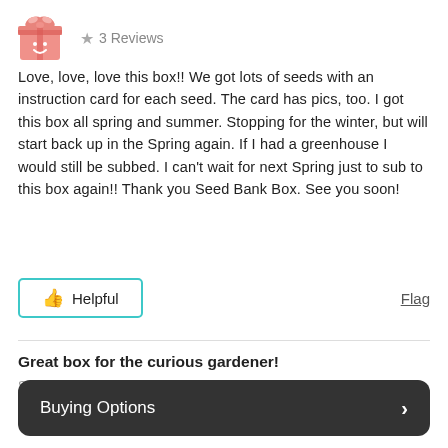[Figure (illustration): Pink gift box / avatar icon with a smiley face]
★ 3 Reviews
Love, love, love this box!! We got lots of seeds with an instruction card for each seed. The card has pics, too. I got this box all spring and summer. Stopping for the winter, but will start back up in the Spring again. If I had a greenhouse I would still be subbed. I can't wait for next Spring just to sub to this box again!! Thank you Seed Bank Box. See you soon!
Helpful
Flag
Great box for the curious gardener!
Sep 09, 2020
★★★★ Overall
Buying Options